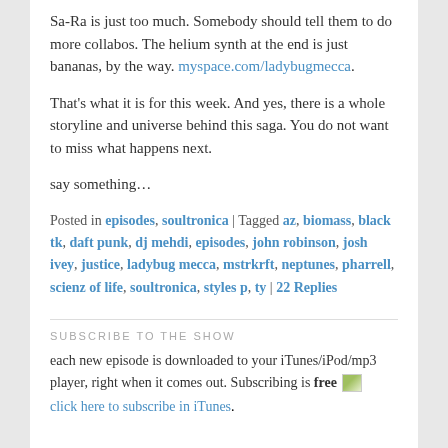Sa-Ra is just too much. Somebody should tell them to do more collabos. The helium synth at the end is just bananas, by the way. myspace.com/ladybugmecca.
That's what it is for this week. And yes, there is a whole storyline and universe behind this saga. You do not want to miss what happens next.
say something…
Posted in episodes, soultronica | Tagged az, biomass, black tk, daft punk, dj mehdi, episodes, john robinson, josh ivey, justice, ladybug mecca, mstrkrft, neptunes, pharrell, scienz of life, soultronica, styles p, ty | 22 Replies
SUBSCRIBE TO THE SHOW
each new episode is downloaded to your iTunes/iPod/mp3 player, right when it comes out. Subscribing is free
click here to subscribe in iTunes.